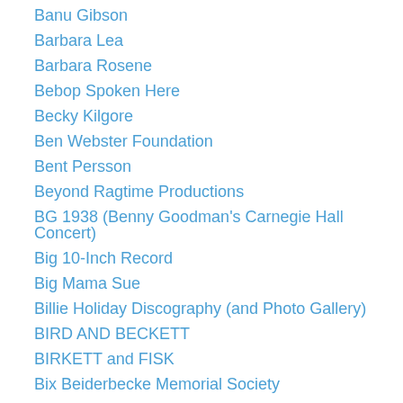Banu Gibson
Barbara Lea
Barbara Rosene
Bebop Spoken Here
Becky Kilgore
Ben Webster Foundation
Bent Persson
Beyond Ragtime Productions
BG 1938 (Benny Goodman's Carnegie Hall Concert)
Big 10-Inch Record
Big Mama Sue
Billie Holiday Discography (and Photo Gallery)
BIRD AND BECKETT
BIRKETT and FISK
Bix Beiderbecke Memorial Society
Bix Beiderbecke Resources: A Bixography
Blat Blog (J. Walter Hawkes)
Blog-o-Jazz
Blue Rhythm's Blog: Discovering Jazz In India
Blue Swing Fine Recordings